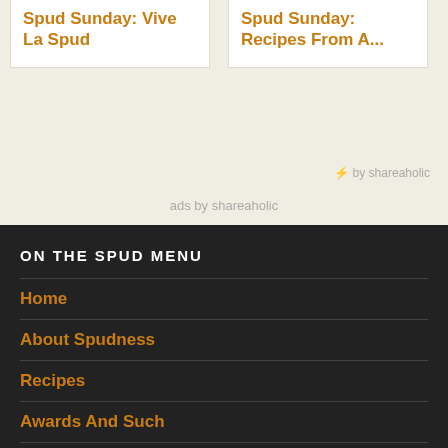Spud Sunday: Vive La Spud
Spud Sunday: Recipes From A...
⚡ by shareaholic
ads by shareaholic
ON THE SPUD MENU
Home
About Spudness
Recipes
Awards And Such
Spud At Large